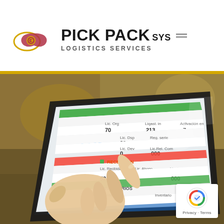[Figure (logo): Pick Pack Sys Logistics Services logo with infinity/tag icon in gold and dark red, bold brand name and subtitle]
[Figure (photo): Person touching a logistics management tablet screen displaying warehouse management software with green-highlighted data panels showing numbers and inventory information]